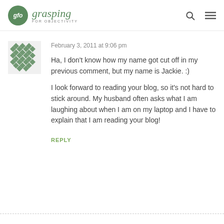glo grasping for objectivity
February 3, 2011 at 9:06 pm
Ha, I don’t know how my name got cut off in my previous comment, but my name is Jackie. :)
I look forward to reading your blog, so it’s not hard to stick around. My husband often asks what I am laughing about when I am on my laptop and I have to explain that I am reading your blog!
REPLY